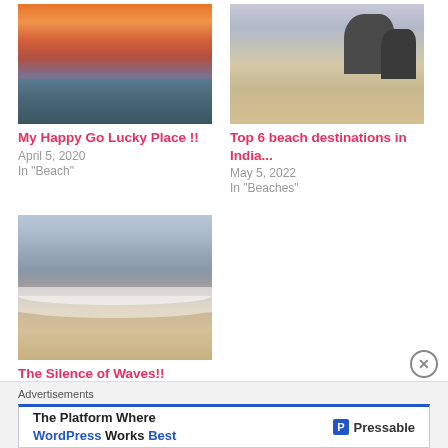[Figure (photo): Sunset over ocean with orange sky and calm water reflections]
My Happy Go Lucky Place !!
April 5, 2020
In "Beach"
[Figure (photo): Beach with large rock formation and person standing on wet sand at sunset]
Top 6 beach destinations in India...
May 5, 2022
In "Beaches"
[Figure (photo): Ocean waves washing up on sandy beach with gentle surf]
The Silence of Waves!!
January 15, 2021
In "Alibaugstories"
Advertisements
The Platform Where WordPress Works Best  Pressable